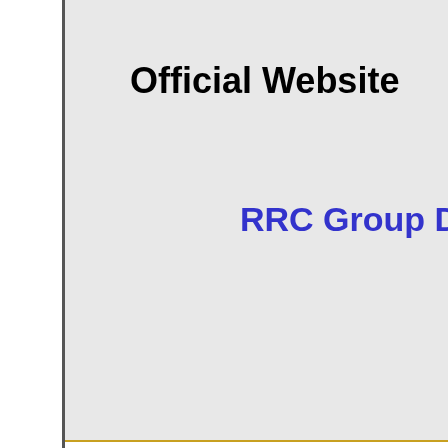Official Website
RRC Group D
Those Eligible Candidates Are Inte the All Eligibility Criteria can visit to
Some Usef